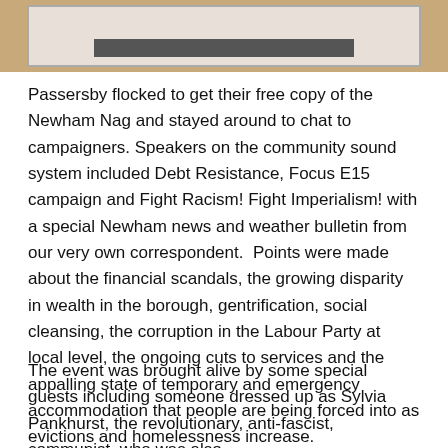[Figure (photo): Partial photo at top of page showing a framed image or sign on a wooden surface, with a dark bar visible]
Passersby flocked to get their free copy of the Newham Nag and stayed around to chat to campaigners. Speakers on the community sound system included Debt Resistance, Focus E15 campaign and Fight Racism! Fight Imperialism! with a special Newham news and weather bulletin from our very own correspondent.  Points were made about the financial scandals, the growing disparity in wealth in the borough, gentrification, social cleansing, the corruption in the Labour Party at local level, the ongoing cuts to services and the appalling state of temporary and emergency accommodation that people are being forced into as evictions and homelessness increase.
The event was brought alive by some special guests including someone dressed up as Sylvia Pankhurst, the revolutionary, anti-fascist, communist, who was also